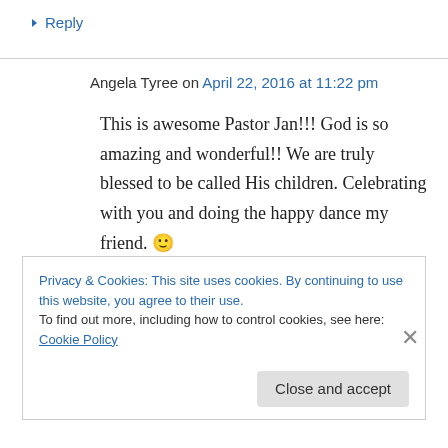↳ Reply
Angela Tyree on April 22, 2016 at 11:22 pm
This is awesome Pastor Jan!!! God is so amazing and wonderful!! We are truly blessed to be called His children. Celebrating with you and doing the happy dance my friend. 🙂 Love Ya, Angela Tyree
Privacy & Cookies: This site uses cookies. By continuing to use this website, you agree to their use. To find out more, including how to control cookies, see here: Cookie Policy